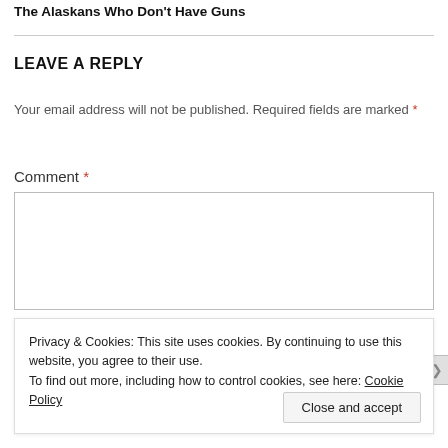The Alaskans Who Don't Have Guns
LEAVE A REPLY
Your email address will not be published. Required fields are marked *
Comment *
Privacy & Cookies: This site uses cookies. By continuing to use this website, you agree to their use.
To find out more, including how to control cookies, see here: Cookie Policy
Close and accept